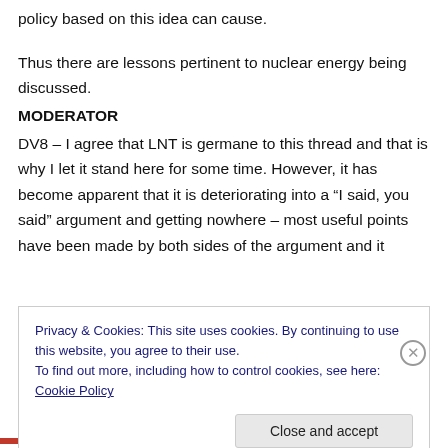policy based on this idea can cause.
Thus there are lessons pertinent to nuclear energy being discussed.
MODERATOR
DV8 – I agree that LNT is germane to this thread and that is why I let it stand here for some time. However, it has become apparent that it is deteriorating into a “I said, you said” argument and getting nowhere – most useful points have been made by both sides of the argument and it
Privacy & Cookies: This site uses cookies. By continuing to use this website, you agree to their use.
To find out more, including how to control cookies, see here: Cookie Policy
Close and accept